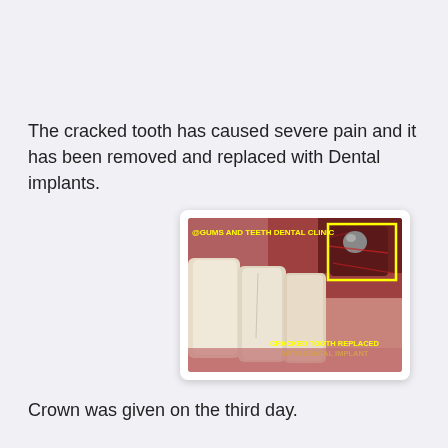The cracked tooth has caused severe pain and it has been removed and replaced with Dental implants.
[Figure (photo): Clinical dental photo showing teeth with a dental implant site. Yellow text overlay reads '@GUMS AND TEETH DENTAL CLINIC' at top and 'CRACKED TOOTH REPLACED WITH DENTAL IMPLANT' at bottom. A yellow rectangle highlights the implant area on the upper right showing a metal implant abutment in a healing socket surrounded by red gum tissue.]
Crown was given on the third day.